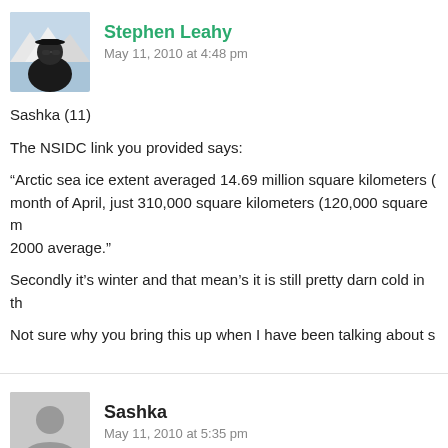[Figure (photo): Profile photo of Stephen Leahy, a man wearing sunglasses and a dark jacket, with snowy mountains in the background]
Stephen Leahy
May 11, 2010 at 4:48 pm
Sashka (11)
The NSIDC link you provided says:
“Arctic sea ice extent averaged 14.69 million square kilometers (month of April, just 310,000 square kilometers (120,000 square m2000 average.”
Secondly it’s winter and that mean’s it is still pretty darn cold in th
Not sure why you bring this up when I have been talking about s
[Figure (illustration): Generic user silhouette avatar placeholder in grey]
Sashka
May 11, 2010 at 5:35 pm
Yes it does say that. What it means is that the current sea ice exrelative to recent history. It is not a trivial bit of information for sotrend of declining ice cover year-to-year. Rest assured spring (yeStephen) ice cover extent correlates with summer very well. You